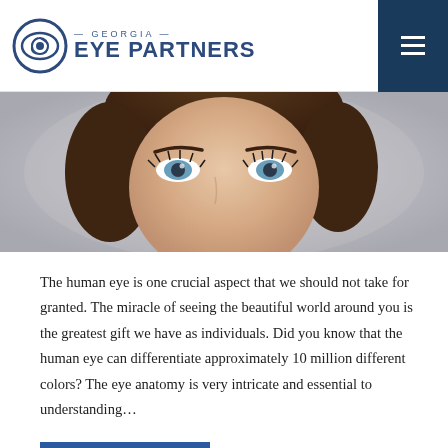GEORGIA EYE PARTNERS
[Figure (photo): Close-up photo of a woman with blue eyes looking upward, brown hair, dramatic eyelashes, cropped to show face and eyes against a grey background]
The human eye is one crucial aspect that we should not take for granted. The miracle of seeing the beautiful world around you is the greatest gift we have as individuals. Did you know that the human eye can differentiate approximately 10 million different colors? The eye anatomy is very intricate and essential to understanding…